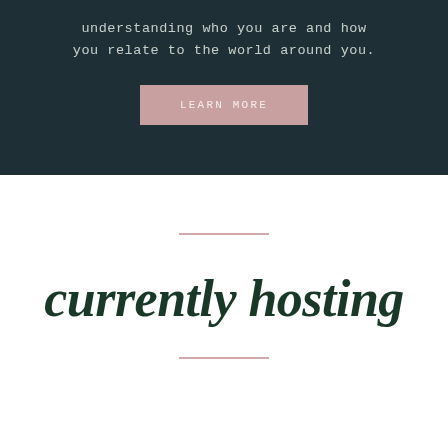understanding who you are and how you relate to the world around you.
[Figure (other): Pink/mauve rectangular button with text 'LEARN MORE' in uppercase spaced letters on dark teal background]
currently hosting